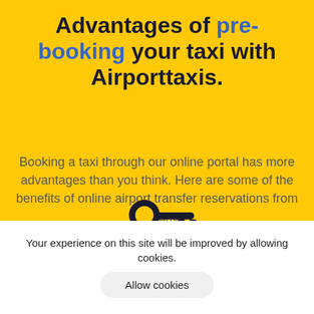Advantages of pre-booking your taxi with Airporttaxis.
Booking a taxi through our online portal has more advantages than you think. Here are some of the benefits of online airport transfer reservations from Mustang.
[Figure (illustration): Partial icon of a key or person/lock symbol rendered in dark/black color, partially visible at bottom of yellow section]
Your experience on this site will be improved by allowing cookies.
Allow cookies